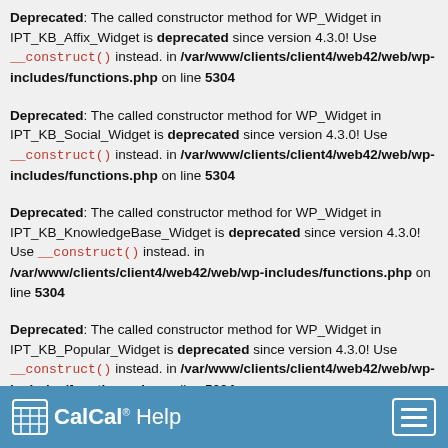Deprecated: The called constructor method for WP_Widget in IPT_KB_Affix_Widget is deprecated since version 4.3.0! Use __construct() instead. in /var/www/clients/client4/web42/web/wp-includes/functions.php on line 5304
Deprecated: The called constructor method for WP_Widget in IPT_KB_Social_Widget is deprecated since version 4.3.0! Use __construct() instead. in /var/www/clients/client4/web42/web/wp-includes/functions.php on line 5304
Deprecated: The called constructor method for WP_Widget in IPT_KB_KnowledgeBase_Widget is deprecated since version 4.3.0! Use __construct() instead. in /var/www/clients/client4/web42/web/wp-includes/functions.php on line 5304
Deprecated: The called constructor method for WP_Widget in IPT_KB_Popular_Widget is deprecated since version 4.3.0! Use __construct() instead. in /var/www/clients/client4/web42/web/wp-includes/functions.php on line 5304
CalCal® Help